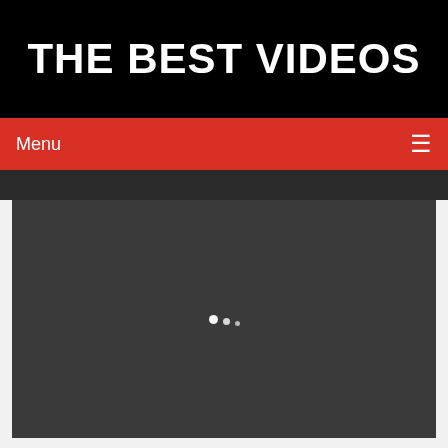THE BEST VIDEOS
Menu ≡
[Figure (screenshot): Dark gray video player area with a loading spinner (three dots) in the center, indicating a video is loading.]
Stunning in-ring proposals: WWE Top 10, Nov. 27, 2017